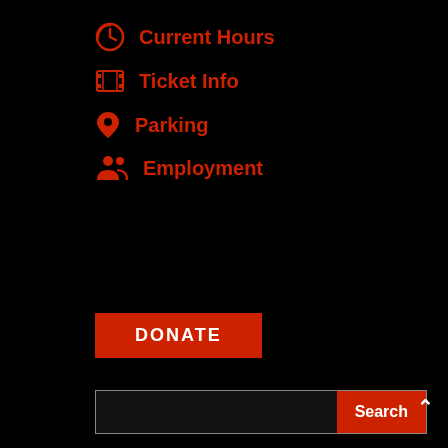Current Hours
Ticket Info
Parking
Employment
DONATE
Search
WXXI Public Broadcasting and the Little Theatre are engaged in a formal, long-term affiliation. This combined organization promises to enhance the cultural life of the community and strengthens both